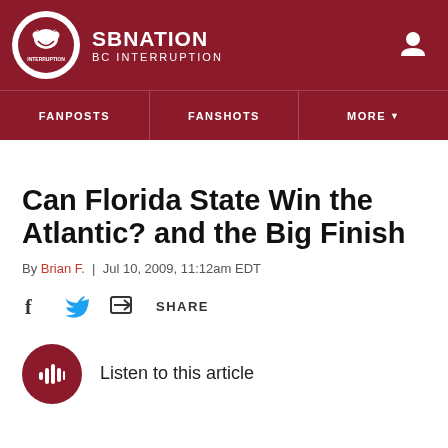SB NATION — BC INTERRUPTION
Can Florida State Win the Atlantic? and the Big Finish
By Brian F. | Jul 10, 2009, 11:12am EDT
Share
Listen to this article